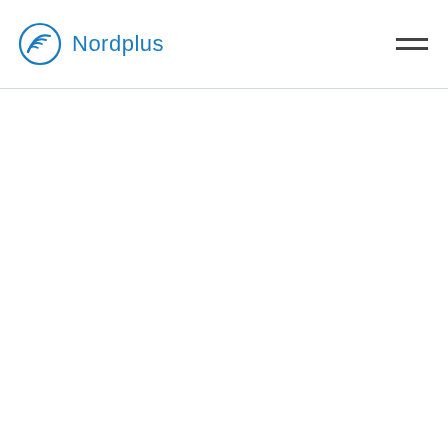Nordplus
[Figure (logo): Nordplus logo: circular blue icon with layered wave/sail lines on left, text 'Nordplus' in blue on right. Hamburger menu icon (two horizontal lines) on far right.]